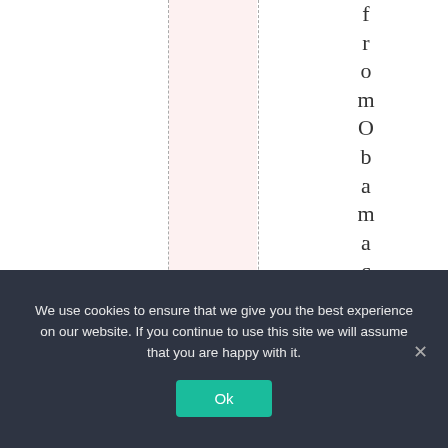[Figure (screenshot): Web page fragment showing vertical rotated text reading 'from Obama macarere qui' with dashed vertical lines and a pink highlighted column strip, suggesting a table or layout guide.]
We use cookies to ensure that we give you the best experience on our website. If you continue to use this site we will assume that you are happy with it.
Ok